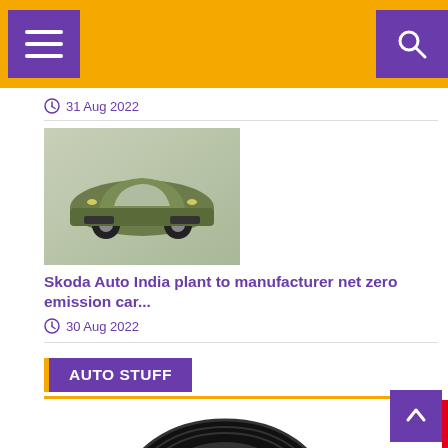Navigation header with menu and search buttons
31 Aug 2022
[Figure (photo): Green Skoda SUV concept car on a neutral background]
Skoda Auto India plant to manufacturer net zero emission car...
30 Aug 2022
AUTO STUFF
[Figure (photo): Black car tire/tyre shown partially at bottom of page]